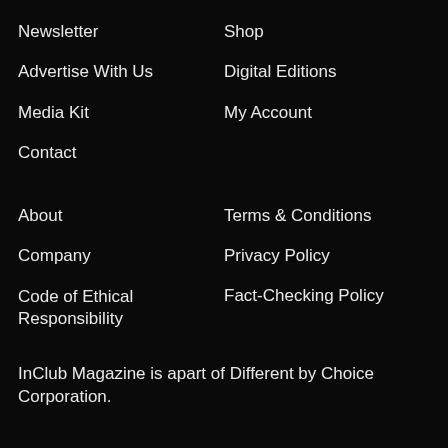Newsletter
Shop
Advertise With Us
Digital Editions
Media Kit
My Account
Contact
About
Terms & Conditions
Company
Privacy Policy
Code of Ethical Responsibility
Fact-Checking Policy
InClub Magazine is apart of Different by Choice Corporation.